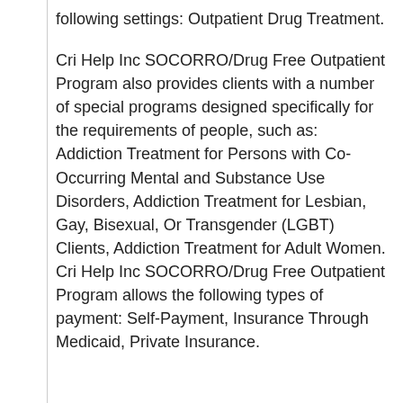following settings: Outpatient Drug Treatment.
Cri Help Inc SOCORRO/Drug Free Outpatient Program also provides clients with a number of special programs designed specifically for the requirements of people, such as: Addiction Treatment for Persons with Co-Occurring Mental and Substance Use Disorders, Addiction Treatment for Lesbian, Gay, Bisexual, Or Transgender (LGBT) Clients, Addiction Treatment for Adult Women. Cri Help Inc SOCORRO/Drug Free Outpatient Program allows the following types of payment: Self-Payment, Insurance Through Medicaid, Private Insurance.